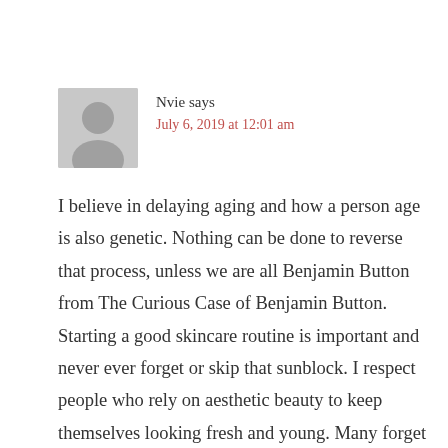Nvie says
July 6, 2019 at 12:01 am
I believe in delaying aging and how a person age is also genetic. Nothing can be done to reverse that process, unless we are all Benjamin Button from The Curious Case of Benjamin Button. Starting a good skincare routine is important and never ever forget or skip that sunblock. I respect people who rely on aesthetic beauty to keep themselves looking fresh and young. Many forget that we are